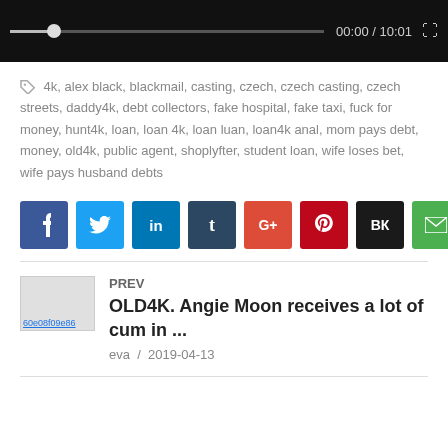[Figure (screenshot): Video player control bar with progress dot at start, time display 00:00 / 10:01, and fullscreen icon]
4k, alex black, blackmail, casting, czech, czech casting, czech streets, daddy4k, debt collectors, fake hospital, fake taxi, fuck for money, hunt4k, loan, loan 4k, loan luan, loan4k anal, mom pays debt, money, old4k, public agent, shoplyfter, student loan, wife loses bet, wife pays husband debts
[Figure (infographic): Row of social share buttons: Facebook (f), Twitter (bird), LinkedIn (in), Tumblr (t), Google+ (G+), Pinterest (p), VK (VK), Email (envelope)]
PREV
OLD4K. Angie Moon receives a lot of cum in ...
eva / 2019-04-13